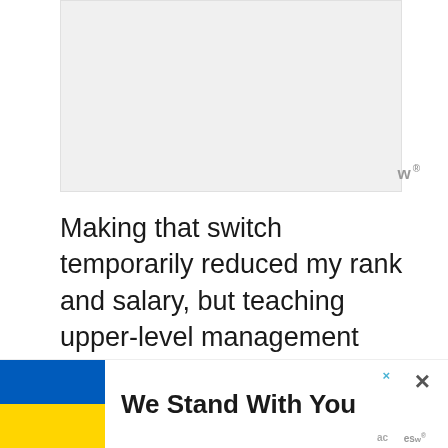[Figure (other): Advertisement placeholder box (gray rectangle)]
Making that switch temporarily reduced my rank and salary, but teaching upper-level management courses at a small, residential, liberal arts school was extremely rewarding. At the end of grading periods, I still occasionally worked long hours; but
[Figure (other): We Stand With You banner with Ukrainian flag, close (x) buttons, and Workopolis logos]